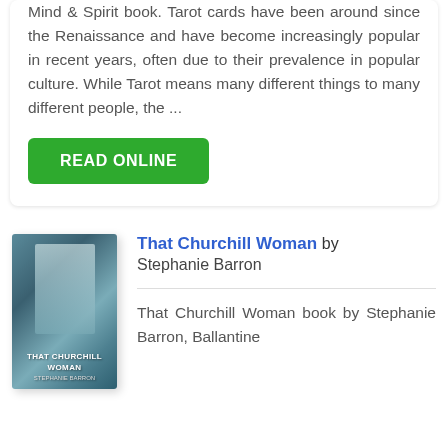Mind & Spirit book. Tarot cards have been around since the Renaissance and have become increasingly popular in recent years, often due to their prevalence in popular culture. While Tarot means many different things to many different people, the ...
READ ONLINE
[Figure (illustration): Book cover of 'That Churchill Woman' by Stephanie Barron, showing a woman in a teal/blue-green gown]
That Churchill Woman by Stephanie Barron
That Churchill Woman book by Stephanie Barron, Ballantine